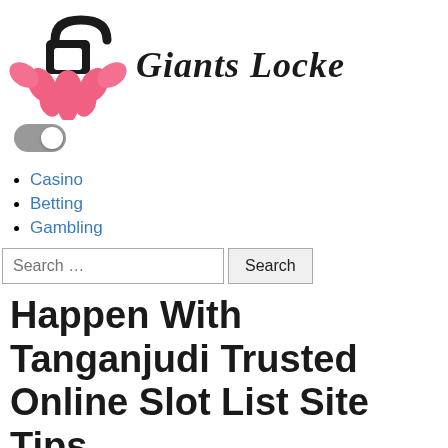[Figure (logo): Giants Locker website logo with a lotus flower and padlock icon in pink/red and black, alongside stylized cursive text 'Giants Locke']
[Figure (other): Toggle switch UI element in grey/off position]
Casino
Betting
Gambling
Search ...  Search
Happen With Tanganjudi Trusted Online Slot List Site Tips
Home
Happen With Tanganjudi Trusted Online Slot List Site Tips